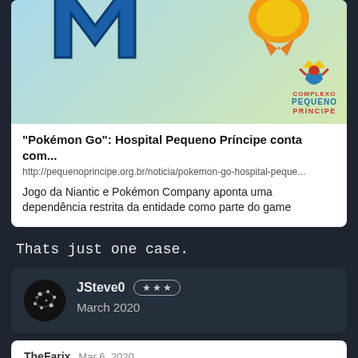[Figure (screenshot): Link preview card showing a Pokémon Go news article about Hospital Pequeno Príncipe, with a light blue/green gradient image background, a blue M shape, an orange ribbon/award, and the Pequeno Príncipe logo.]
"Pokémon Go": Hospital Pequeno Príncipe conta com...
http://pequenoprincipe.org.br/noticia/pokemon-go-hospital-peque...
Jogo da Niantic e Pokémon Company aponta uma dependência restrita da entidade como parte do game
Thats just one case.
JSteve0 ★★★ March 2020
TheFarix  Mar 6, 2020